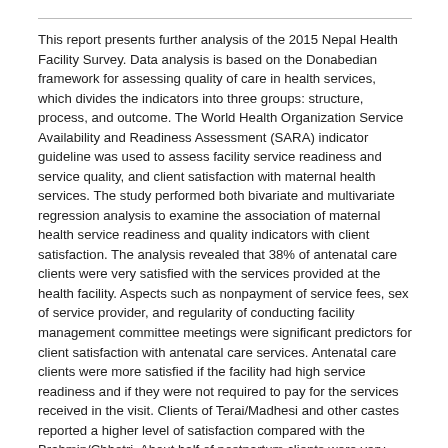This report presents further analysis of the 2015 Nepal Health Facility Survey. Data analysis is based on the Donabedian framework for assessing quality of care in health services, which divides the indicators into three groups: structure, process, and outcome. The World Health Organization Service Availability and Readiness Assessment (SARA) indicator guideline was used to assess facility service readiness and service quality, and client satisfaction with maternal health services. The study performed both bivariate and multivariate regression analysis to examine the association of maternal health service readiness and quality indicators with client satisfaction. The analysis revealed that 38% of antenatal care clients were very satisfied with the services provided at the health facility. Aspects such as nonpayment of service fees, sex of service provider, and regularity of conducting facility management committee meetings were significant predictors for client satisfaction with antenatal care services. Antenatal care clients were more satisfied if the facility had high service readiness and if they were not required to pay for the services received in the visit. Clients of Terai/Madhesi and other castes reported a higher level of satisfaction compared with the Brahmin/Chhetri. About half of postpartum clients were very satisfied with the services provided. Postpartum clients had 3.4 times higher odds of being satisfied in postpartum care if the facility had a protected client waiting area available compared